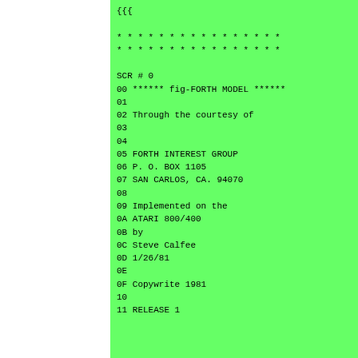{{{
* * * * * * * * * * * * * * * *
* * * * * * * * * * * * * * * *

SCR # 0
00 ****** fig-FORTH MODEL ******
01
02 Through the courtesy of
03
04
05 FORTH INTEREST GROUP
06 P. O. BOX 1105
07 SAN CARLOS, CA. 94070
08
09 Implemented on the
0A ATARI 800/400
0B by
0C Steve Calfee
0D 1/26/81
0E
0F Copywrite 1981
10
11 RELEASE 1